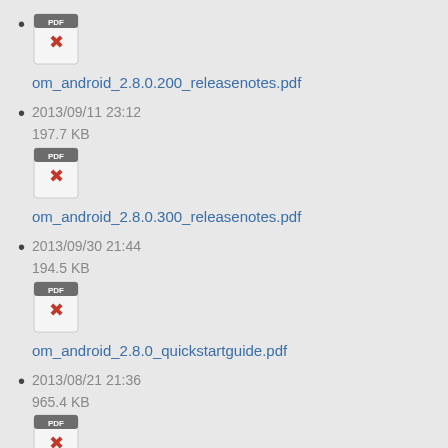om_android_2.8.0.200_releasenotes.pdf
om_android_2.8.0.300_releasenotes.pdf
2013/09/11 23:12
197.7 KB
om_android_2.8.0_quickstartguide.pdf
2013/09/30 21:44
194.5 KB
om_android_2.8.0_releasenotes.pdf
2013/08/21 21:36
965.4 KB
2013/08/21 21:34